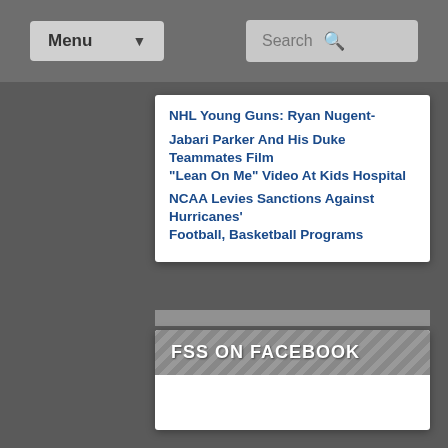Menu  Search
NHL Young Guns: Ryan Nugent-Hopkins
Jabari Parker And His Duke Teammates Film "Lean On Me" Video At Kids Hospital
NCAA Levies Sanctions Against Hurricanes' Football, Basketball Programs
FSS ON FACEBOOK